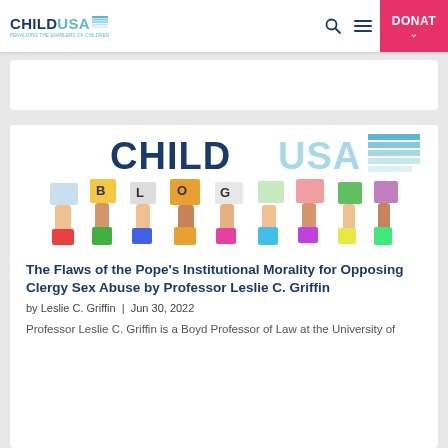CHILDUSA — Navigation with search, menu, and DONATE button
[Figure (logo): ChildUSA Blog banner with children holding colorful books over their faces and CHILDUSA logo with BLOG lettering]
The Flaws of the Pope's Institutional Morality for Opposing Clergy Sex Abuse by Professor Leslie C. Griffin
by Leslie C. Griffin | Jun 30, 2022
Professor Leslie C. Griffin is a Boyd Professor of Law at the University of...